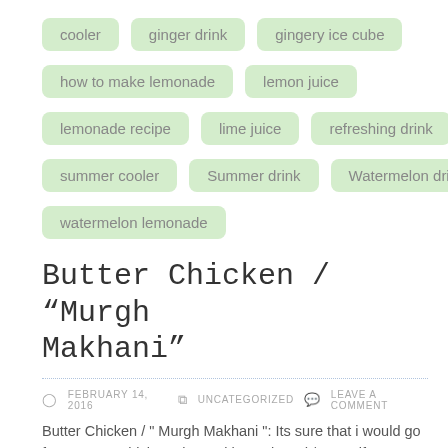cooler
ginger drink
gingery ice cube
how to make lemonade
lemon juice
lemonade recipe
lime juice
refreshing drink
summer cooler
Summer drink
Watermelon drink
watermelon lemonade
Butter Chicken / “Murgh Makhani”
FEBRUARY 14, 2016  UNCATEGORIZED  LEAVE A COMMENT
Butter Chicken / ” Murgh Makhani ”: Its sure that i would go for a Butter Chicken along with any bread / Naan if I am eating out!!